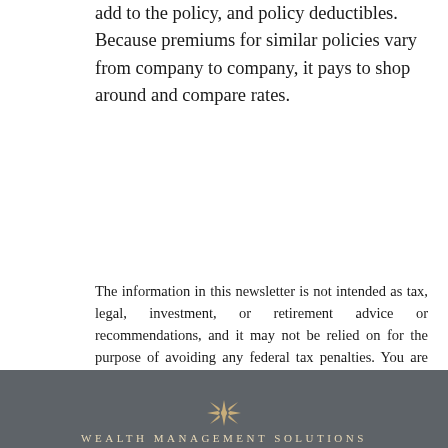add to the policy, and policy deductibles. Because premiums for similar policies vary from company to company, it pays to shop around and compare rates.
The information in this newsletter is not intended as tax, legal, investment, or retirement advice or recommendations, and it may not be relied on for the purpose of avoiding any federal tax penalties. You are encouraged to seek guidance from an independent tax or legal professional. The content is derived from sources believed to be accurate. Neither the information presented nor any opinion expressed constitutes a solicitation for the purchase or sale of any security. This material was written and prepared by Broadridge Advisor Solutions. © 2022 Broadridge Financial Solutions, Inc.
WEALTH MANAGEMENT SOLUTIONS